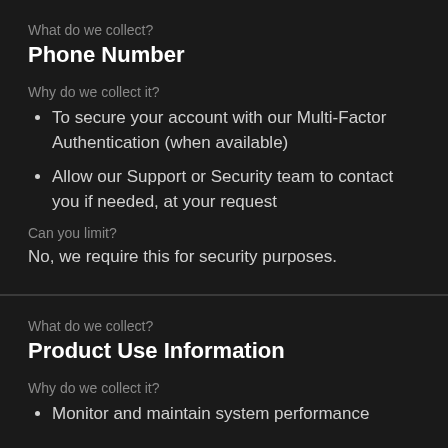What do we collect?
Phone Number
Why do we collect it?
To secure your account with our Multi-Factor Authentication (when available)
Allow our Support or Security team to contact you if needed, at your request
Can you limit?
No, we require this for security purposes.
What do we collect?
Product Use Information
Why do we collect it?
Monitor and maintain system performance